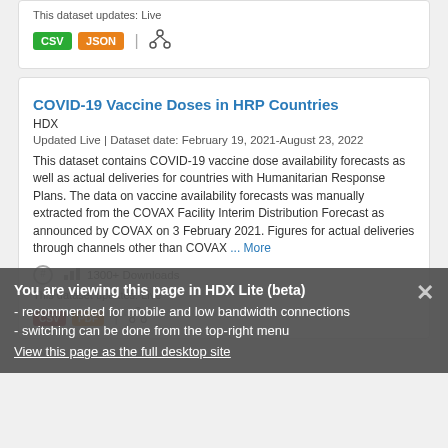This dataset updates: Live
CSV | JSON | [network icon]
COVID-19 Vaccine Doses in HRP Countries
HDX
Updated Live | Dataset date: February 19, 2021-August 23, 2022
This dataset contains COVID-19 vaccine dose availability forecasts as well as actual deliveries for countries with Humanitarian Response Plans. The data on vaccine availability forecasts was manually extracted from the COVAX Facility Interim Distribution Forecast as announced by COVAX on 3 February 2021. Figures for actual deliveries through channels other than COVAX ... More
1300+ Downloads
This dataset updates: Live
CSV | PDF | [network icon]
You are viewing this page in HDX Lite (beta)
- recommended for mobile and low bandwidth connections
- switching can be done from the top-right menu
View this page as the full desktop site